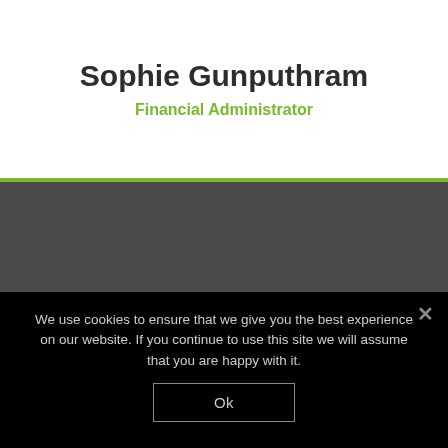Sophie Gunputhram
Financial Administrator
We use cookies to ensure that we give you the best experience on our website. If you continue to use this site we will assume that you are happy with it.
Ok